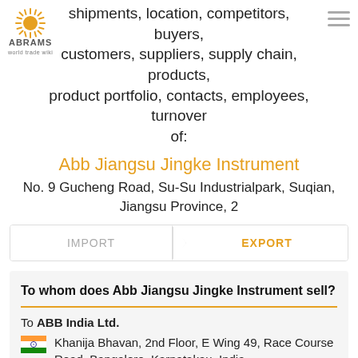shipments, location, competitors, buyers, customers, suppliers, supply chain, products, product portfolio, contacts, employees, turnover of:
[Figure (logo): Abrams World Trade Wiki logo with sunburst icon and text]
Abb Jiangsu Jingke Instrument
No. 9 Gucheng Road, Su-Su Industrialpark, Suqian, Jiangsu Province, 2
IMPORT   EXPORT
To whom does Abb Jiangsu Jingke Instrument sell?
To ABB India Ltd.
Khanija Bhavan, 2nd Floor, E Wing 49, Race Course Road, Bangalore, Karnatakau, India